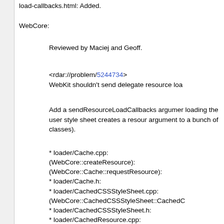load-callbacks.html: Added.
WebCore:
Reviewed by Maciej and Geoff.
<rdar://problem/5244734>
WebKit shouldn't send delegate resource loa
Add a sendResourceLoadCallbacks argumer loading the user style sheet creates a resour argument to a bunch of classes).
* loader/Cache.cpp:
(WebCore::createResource):
(WebCore::Cache::requestResource):
* loader/Cache.h:
* loader/CachedCSSStyleSheet.cpp:
(WebCore::CachedCSSStyleSheet::CachedC
* loader/CachedCSSStyleSheet.h:
* loader/CachedResource.cpp:
(WebCore::CachedResource::CachedResour
* loader/CachedResource.h:
(WebCore::CachedResource::sendResource
* loader/DocLoader.cpp:
(WebCore::DocLoader::requestCSSStyleShe
(WebCore::DocLoader::requestResource):
(WebCore::DocLoader::checkCacheObjectSt
* loader/DocLoader.h:
* loader/MainResourceLoader.cpp: